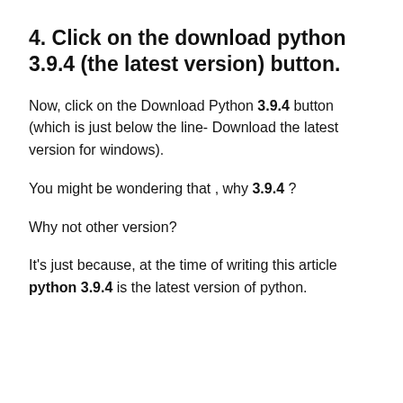4. Click on the download python 3.9.4 (the latest version) button.
Now, click on the Download Python 3.9.4 button (which is just below the line- Download the latest version for windows).
You might be wondering that , why 3.9.4 ?
Why not other version?
It's just because, at the time of writing this article python 3.9.4 is the latest version of python.